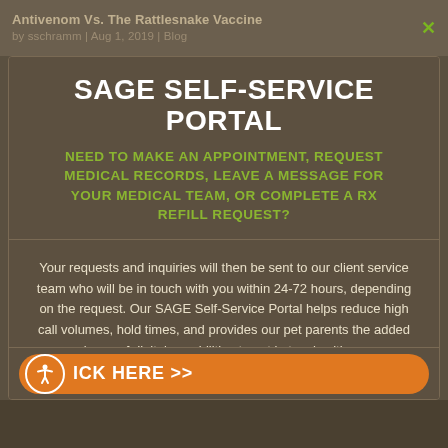Antivenom Vs. The Rattlesnake Vaccine by sschramm | Aug 1, 2019 | Blog
SAGE SELF-SERVICE PORTAL
NEED TO MAKE AN APPOINTMENT, REQUEST MEDICAL RECORDS, LEAVE A MESSAGE FOR YOUR MEDICAL TEAM, OR COMPLETE A RX REFILL REQUEST?
Your requests and inquiries will then be sent to our client service team who will be in touch with you within 24-72 hours, depending on the request. Our SAGE Self-Service Portal helps reduce high call volumes, hold times, and provides our pet parents the added convenience of digital capabilities to get in touch with us versus calling in.
CLICK HERE >>